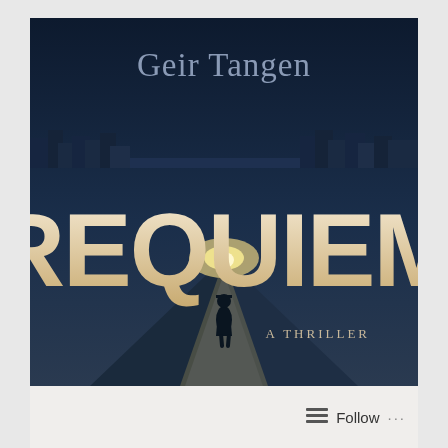[Figure (illustration): Book cover for 'Requiem' by Geir Tangen. Dark navy blue background with a dramatic city/bridge scene. Large cream/beige letters spell REQUIEM across the middle. A lone silhouetted figure walks away down a cobblestone path toward bright light in the distance. Author name 'Geir Tangen' appears at top in muted blue-grey serif font. Subtitle 'A THRILLER' appears at lower right in small spaced caps.]
Follow ...